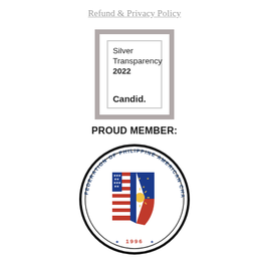Refund & Privacy Policy
[Figure (logo): Candid Silver Transparency 2022 badge - grey bordered box with inner border containing text 'Silver Transparency 2022' and 'Candid.']
PROUD MEMBER:
[Figure (logo): Federation of Philippine American Chambers of Commerce circular seal with US and Philippine flags in center, text around ring reading 'FEDERATION OF PHILIPPINE AMERICAN CHAMBERS OF COMMERCE', with '1996' at bottom in red with blue stars]